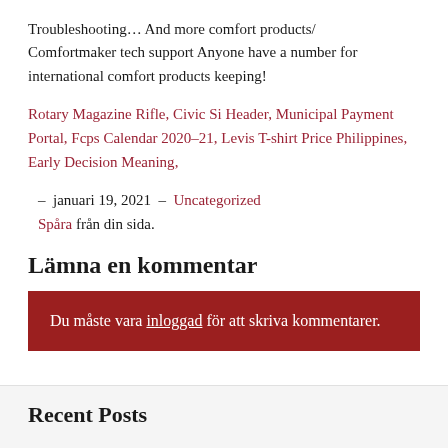Troubleshooting… And more comfort products/ Comfortmaker tech support Anyone have a number for international comfort products keeping!
Rotary Magazine Rifle, Civic Si Header, Municipal Payment Portal, Fcps Calendar 2020–21, Levis T-shirt Price Philippines, Early Decision Meaning,
–  januari 19, 2021  –  Uncategorized Spåra från din sida.
Lämna en kommentar
Du måste vara inloggad för att skriva kommentarer.
Recent Posts